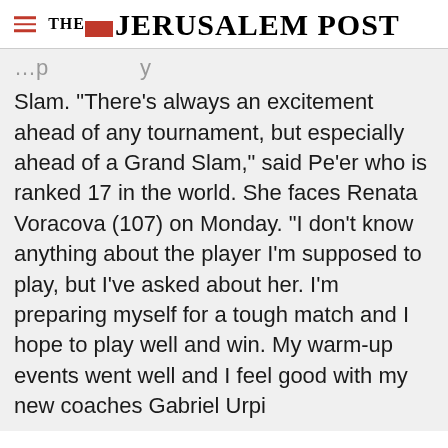THE JERUSALEM POST
Slam. "There's always an excitement ahead of any tournament, but especially ahead of a Grand Slam," said Pe'er who is ranked 17 in the world. She faces Renata Voracova (107) on Monday. "I don't know anything about the player I'm supposed to play, but I've asked about her. I'm preparing myself for a tough match and I hope to play well and win. My warm-up events went well and I feel good with my new coaches Gabriel Urpi
Advertisement